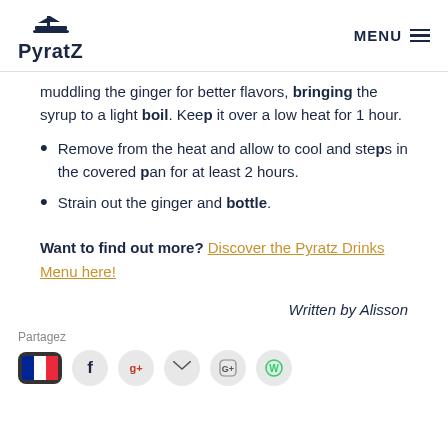PyratZ MENU
muddling the ginger for better flavors, bringing the syrup to a light boil. Keep it over a low heat for 1 hour.
Remove from the heat and allow to cool and steps in the covered pan for at least 2 hours.
Strain out the ginger and bottle.
Want to find out more? Discover the Pyratz Drinks Menu here!
Written by Alisson
Partagez